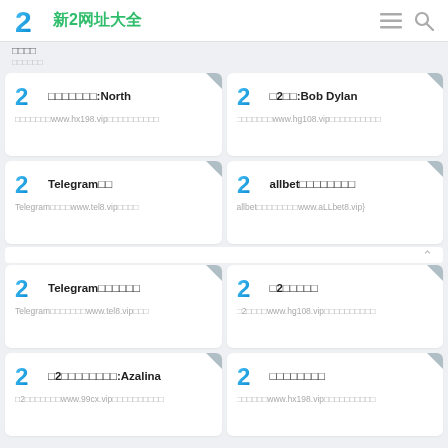2 新2网址大全
□□□□
□□□□□□□:North
□□□□□□□www.hx198.vip□□□□□□□□□□
□2□□:Bob Dylan
□□□□□□□www.hg108.vip□□□□□□□□□□
Telegram□□
Telegram□□□□www.tel8.vip□□□□
allbet□□□□□□□□
allbet□□□□□□□□www.aLLbet8.vip}
Telegram□□□□□□
Telegram□□□□□□□www.tel8.vip□□□
□2□□□□□
□2□□□□www.hg108.vip□□□□□□□□□□
□2□□□□□□□□:Azalina
□2□□□□□□□www.99cx.vip□□□□□□□□□□
□□□□□□□□
□□□□□□www.hx198.vip□□□□□□□□□□